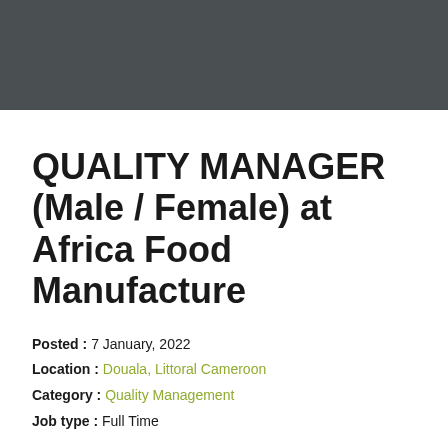QUALITY MANAGER (Male / Female) at Africa Food Manufacture
Posted : 7 January, 2022
Location : Douala, Littoral Cameroon
Category : Quality Management
Job type : Full Time